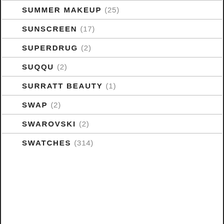SUMMER MAKEUP (25)
SUNSCREEN (17)
SUPERDRUG (2)
SUQQU (2)
SURRATT BEAUTY (1)
SWAP (2)
SWAROVSKI (2)
SWATCHES (314)